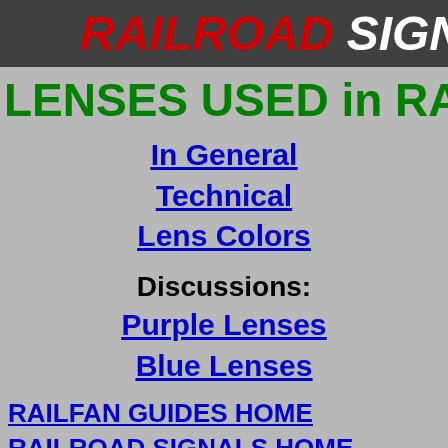RAILROAD SIGNALS
LENSES USED in RAILROAD
In General
Technical
Lens Colors
Discussions:
Purple Lenses
Blue Lenses
RAILFAN GUIDES HOME
RAILROAD SIGNALS HOME
In General